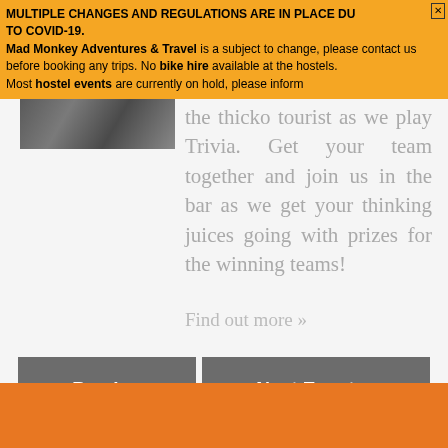MULTIPLE CHANGES AND REGULATIONS ARE IN PLACE DUE TO COVID-19. Mad Monkey Adventures & Travel is a subject to change, please contact us before booking any trips. No bike hire available at the hostels. Most hostel events are currently on hold, please inform
[Figure (photo): Small thumbnail photo, partially visible, showing an outdoor scene]
the thicko tourist as we play Trivia. Get your team together and join us in the bar as we get your thinking juices going with prizes for the winning teams!
Find out more »
«Previous Events
Next Events»